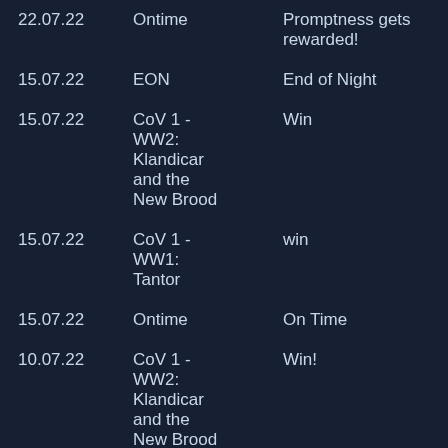| Date | Type | Description |
| --- | --- | --- |
| 22.07.22 | Ontime | Promptness gets rewarded! |
| 15.07.22 | EON | End of Night |
| 15.07.22 | CoV 1 - WW2: Klandicar and the New Brood | Win |
| 15.07.22 | CoV 1 - WW1: Tantor | win |
| 15.07.22 | Ontime | On Time |
| 10.07.22 | CoV 1 - WW2: Klandicar and the New Brood | Win! |
| 10.07.22 | CoV 1 - WW2: Klandicar | Wipe! |